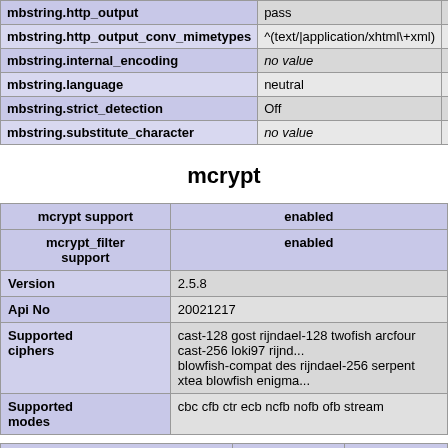| Directive | Local Value | Master Value |
| --- | --- | --- |
| mbstring.http_output | pass | pa... |
| mbstring.http_output_conv_mimetypes | ^(text/|application/xhtml\+xml) | ^(t... |
| mbstring.internal_encoding | no value | no... |
| mbstring.language | neutral | ne... |
| mbstring.strict_detection | Off | Of... |
| mbstring.substitute_character | no value | no... |
mcrypt
| mcrypt support | enabled |
| mcrypt_filter support | enabled |
| Version | 2.5.8 |
| Api No | 20021217 |
| Supported ciphers | cast-128 gost rijndael-128 twofish arcfour cast-256 loki97 rijnd... blowfish-compat des rijndael-256 serpent xtea blowfish enigma... |
| Supported modes | cbc cfb ctr ecb ncfb nofb ofb stream |
| Directive | Local Value | Master Value |
| --- | --- | --- |
| mcrypt.algorithms_dir | no value | n... |
| mcrypt.modes_dir | no value | n... |